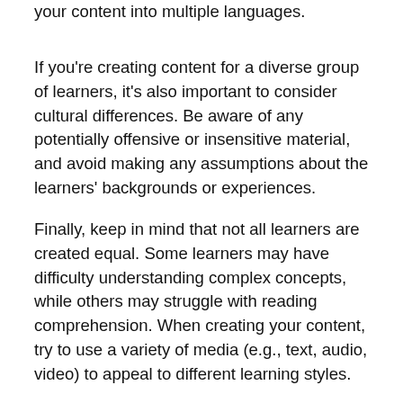your content into multiple languages.
If you're creating content for a diverse group of learners, it's also important to consider cultural differences. Be aware of any potentially offensive or insensitive material, and avoid making any assumptions about the learners' backgrounds or experiences.
Finally, keep in mind that not all learners are created equal. Some learners may have difficulty understanding complex concepts, while others may struggle with reading comprehension. When creating your content, try to use a variety of media (e.g., text, audio, video) to appeal to different learning styles.